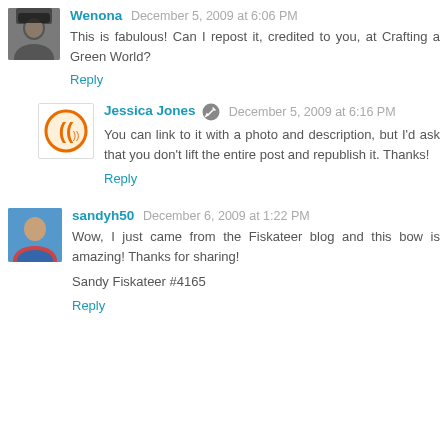Wenona  December 5, 2009 at 6:06 PM
This is fabulous! Can I repost it, credited to you, at Crafting a Green World?
Reply
Jessica Jones  December 5, 2009 at 6:16 PM
You can link to it with a photo and description, but I'd ask that you don't lift the entire post and republish it. Thanks!
Reply
sandyh50  December 6, 2009 at 1:22 PM
Wow, I just came from the Fiskateer blog and this bow is amazing! Thanks for sharing!

Sandy Fiskateer #4165
Reply